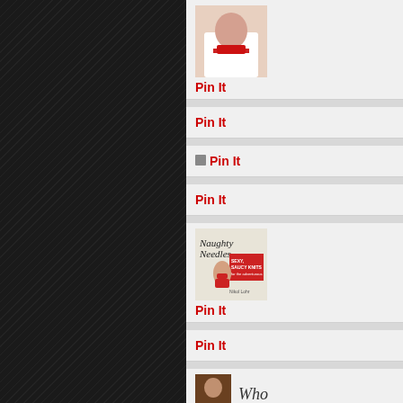[Figure (screenshot): Pinterest-style page with dark diagonal-striped left panel and right column of 'Pin It' buttons with thumbnails]
Pin It
Pin It
Pin It
Pin It
[Figure (photo): Book cover: Naughty Needles - Sexy, Saucy Knits]
Pin It
Pin It
[Figure (photo): Partial view of photo at bottom with text 'Who']